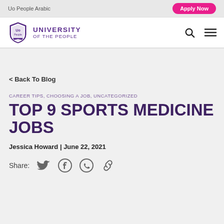Uo People Arabic
Apply Now
[Figure (logo): University of the People shield logo with search and menu icons]
< Back To Blog
CAREER TIPS, CHOOSING A JOB, UNCATEGORIZED
TOP 9 SPORTS MEDICINE JOBS
Jessica Howard | June 22, 2021
Share: